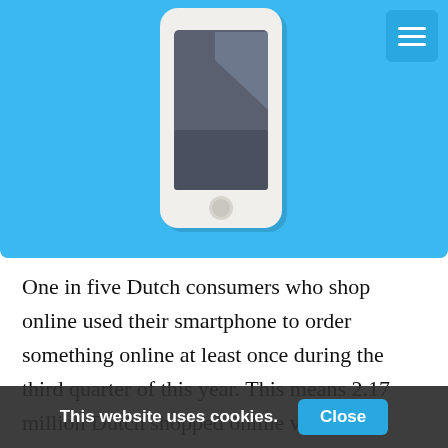[Figure (illustration): A flat design illustration of a white smartphone on a blue background. The smartphone has a dark screen with a glare/reflection highlight, and a circular home button at the bottom. There is a hamburger menu icon button in the top-right corner of the blue area.]
One in five Dutch consumers who shop online used their smartphone to order something online at least once during the third quarter of this year. This means 2.17 million Dutch shopped online via their smartphone. One year ago, 14 percent of the Dutch online shoppers used their smartphone for
This website uses cookies.
Close